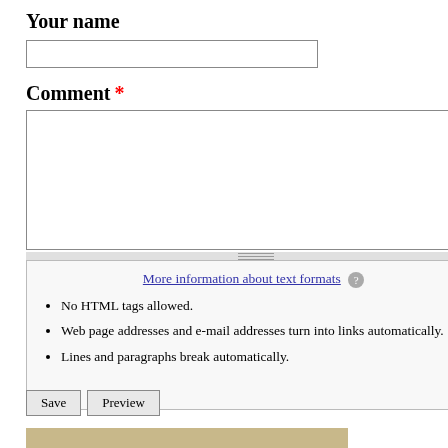Your name
[Figure (screenshot): Empty text input field for name]
Comment *
[Figure (screenshot): Large empty textarea for comment input with resize handle]
More information about text formats
No HTML tags allowed.
Web page addresses and e-mail addresses turn into links automatically.
Lines and paragraphs break automatically.
[Figure (screenshot): Save and Preview buttons]
[Figure (photo): Partial photo of people in what appears to be a classroom setting]